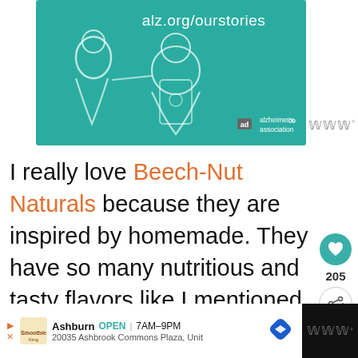[Figure (illustration): Alzheimer's Association advertisement banner with teal background showing two illustrated people (an older and younger person), URL alz.org/ourstories, and Alzheimer's association logo with 'ad' badge]
I really love Beech-Nut Naturals because they are inspired by homemade. They have so many nutritious and tasty flavors like I mentioned above.
[Figure (infographic): What's Next panel with thumbnail image and text 'How to Get Your Kids...']
[Figure (infographic): Bottom advertisement bar: Smoothie King, Ashburn OPEN 7AM-9PM, 20035 Ashbrook Commons Plaza, Unit, with navigation icon]